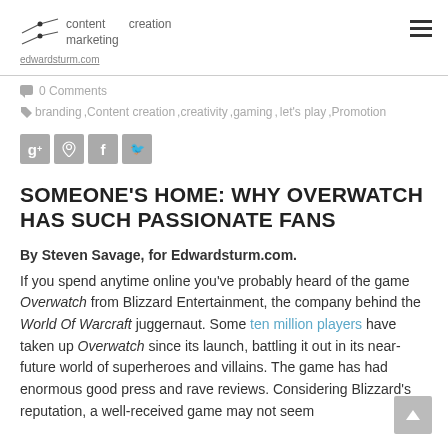content creation marketing edwardsturm.com
0 Comments
branding , Content creation , creativity , gaming , let's play , Promotion
[Figure (other): Social share icons: Google+, Pinterest, Facebook, Twitter]
SOMEONE'S HOME: WHY OVERWATCH HAS SUCH PASSIONATE FANS
By Steven Savage, for Edwardsturm.com.
If you spend anytime online you've probably heard of the game Overwatch from Blizzard Entertainment, the company behind the World Of Warcraft juggernaut. Some ten million players have taken up Overwatch since its launch, battling it out in its near-future world of superheroes and villains. The game has had enormous good press and rave reviews. Considering Blizzard's reputation, a well-received game may not seem